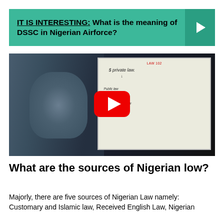IT IS INTERESTING: What is the meaning of DSSC in Nigerian Airforce?
[Figure (screenshot): Video thumbnail showing a man in a blue shirt standing next to a whiteboard. The whiteboard has text including 'LAW 102', '$ private law', 'Public law', 'Criminal law', 'Civil law', 'Constitutional law'. A YouTube play button overlay is visible in the center.]
What are the sources of Nigerian low?
Majorly, there are five sources of Nigerian Law namely: Customary and Islamic law, Received English Law, Nigerian